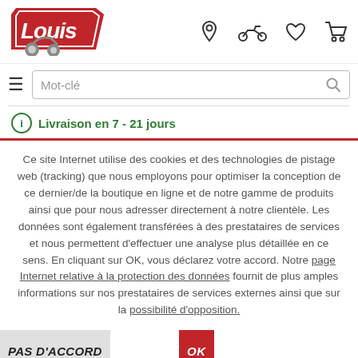[Figure (logo): Louis motorcycle gear brand logo - red and white with motorbike]
[Figure (illustration): Navigation header icons: location pin, motorcycle, heart/wishlist, shopping cart]
Mot-clé
Livraison en 7 - 21 jours
Ce site Internet utilise des cookies et des technologies de pistage web (tracking) que nous employons pour optimiser la conception de ce dernier/de la boutique en ligne et de notre gamme de produits ainsi que pour nous adresser directement à notre clientèle. Les données sont également transférées à des prestataires de services et nous permettent d'effectuer une analyse plus détaillée en ce sens. En cliquant sur OK, vous déclarez votre accord. Notre page Internet relative à la protection des données fournit de plus amples informations sur nos prestataires de services externes ainsi que sur la possibilité d'opposition.
PAS D'ACCORD
OK